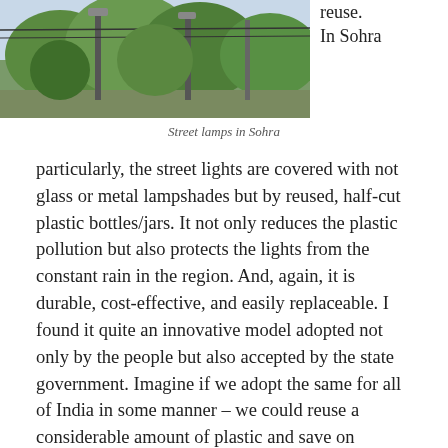[Figure (photo): Street lamps in Sohra — a photograph showing lamp posts with trees and green foliage in the background under a light sky.]
reuse. In Sohra
Street lamps in Sohra
particularly, the street lights are covered with not glass or metal lampshades but by reused, half-cut plastic bottles/jars. It not only reduces the plastic pollution but also protects the lights from the constant rain in the region. And, again, it is durable, cost-effective, and easily replaceable. I found it quite an innovative model adopted not only by the people but also accepted by the state government. Imagine if we adopt the same for all of India in some manner – we could reuse a considerable amount of plastic and save on generating more waste.
7. Kind comments